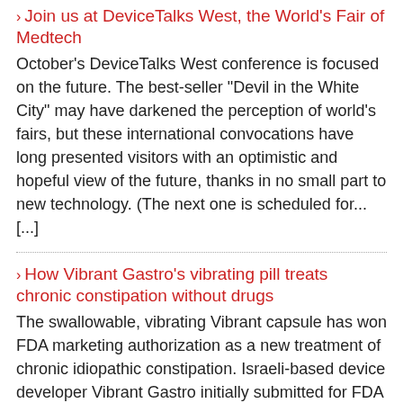Join us at DeviceTalks West, the World's Fair of Medtech
October's DeviceTalks West conference is focused on the future. The best-seller "Devil in the White City" may have darkened the perception of world's fairs, but these international convocations have long presented visitors with an optimistic and hopeful view of the future, thanks in no small part to new technology. (The next one is scheduled for... [...]
How Vibrant Gastro's vibrating pill treats chronic constipation without drugs
The swallowable, vibrating Vibrant capsule has won FDA marketing authorization as a new treatment of chronic idiopathic constipation. Israeli-based device developer Vibrant Gastro initially submitted for FDA 510(k) clearance and won FDA De Novo classification on Aug. 26. Chief Marketing Officer Ben